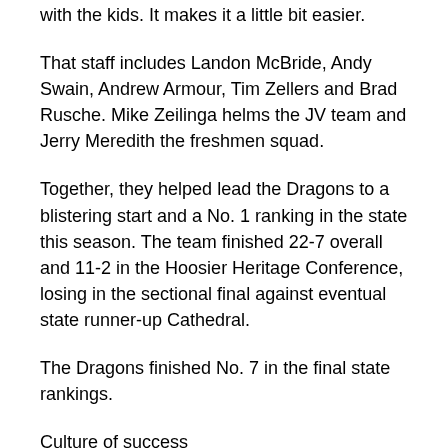with the kids. It makes it a little bit easier.
That staff includes Landon McBride, Andy Swain, Andrew Armour, Tim Zellers and Brad Rusche. Mike Zeilinga helms the JV team and Jerry Meredith the freshmen squad.
Together, they helped lead the Dragons to a blistering start and a No. 1 ranking in the state this season. The team finished 22-7 overall and 11-2 in the Hoosier Heritage Conference, losing in the sectional final against eventual state runner-up Cathedral.
The Dragons finished No. 7 in the final state rankings.
Culture of success
Lyons said he thinks many factors played into being named an all-star team coach, including the strong season the